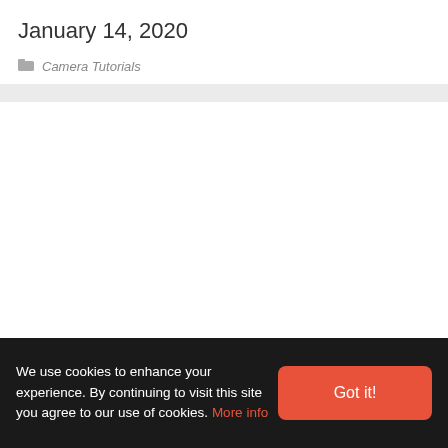January 14, 2020
Camera Tutorials
We use cookies to enhance your experience. By continuing to visit this site you agree to our use of cookies. More info